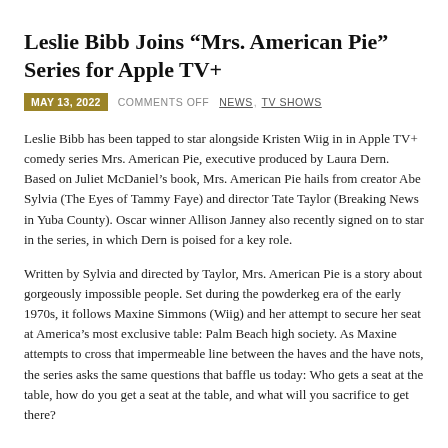Leslie Bibb Joins “Mrs. American Pie” Series for Apple TV+
MAY 13, 2022   COMMENTS OFF   NEWS, TV SHOWS
Leslie Bibb has been tapped to star alongside Kristen Wiig in in Apple TV+ comedy series Mrs. American Pie, executive produced by Laura Dern. Based on Juliet McDaniel’s book, Mrs. American Pie hails from creator Abe Sylvia (The Eyes of Tammy Faye) and director Tate Taylor (Breaking News in Yuba County). Oscar winner Allison Janney also recently signed on to star in the series, in which Dern is poised for a key role.
Written by Sylvia and directed by Taylor, Mrs. American Pie is a story about gorgeously impossible people. Set during the powderkeg era of the early 1970s, it follows Maxine Simmons (Wiig) and her attempt to secure her seat at America’s most exclusive table: Palm Beach high society. As Maxine attempts to cross that impermeable line between the haves and the have nots, the series asks the same questions that baffle us today: Who gets a seat at the table, how do you get a seat at the table, and what will you sacrifice to get there?